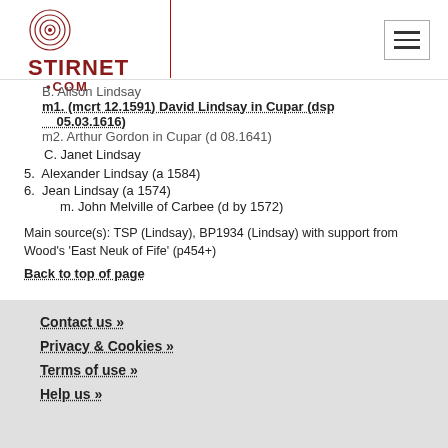Stirnet.com
B. Alison Lindsay
m1. (mcrt 12.1591) David Lindsay in Cupar (dsp 05.03.1616)
m2. Arthur Gordon in Cupar (d 08.1641)
C. Janet Lindsay
5. Alexander Lindsay (a 1584)
6. Jean Lindsay (a 1574)
m. John Melville of Carbee (d by 1572)
Main source(s): TSP (Lindsay), BP1934 (Lindsay) with support from Wood's 'East Neuk of Fife' (p454+)
Back to top of page
Contact us »
Privacy & Cookies »
Terms of use »
Help us »